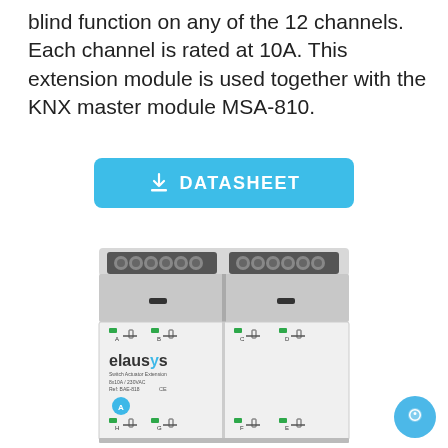blind function on any of the 12 channels. Each channel is rated at 10A. This extension module is used together with the KNX master module MSA-810.
[Figure (other): A cyan/blue rounded-rectangle button labeled 'DATASHEET' with a download arrow icon]
[Figure (photo): Photo of a DIN-rail mounted Elausys Switch Actuator Extension module (Ref: BAE-818), 8x10A / 230VAC, CE marked, showing terminal connectors on top and channel indicators A-H on the front face with the elausys logo]